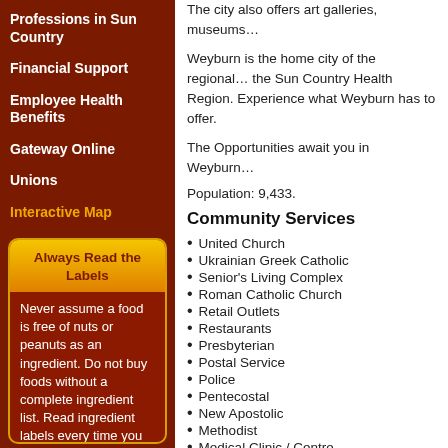Professions in Sun Country
Financial Support
Employee Health Benefits
Gateway Online
Unions
Interactive Map
Always Read the Labels
Never assume a food is free of nuts or peanuts as an ingredient. Do not buy foods without a complete ingredient list. Read ingredient labels every time you shop as companies change their products often!
The city also offers art galleries, museums…
Weyburn is the home city of the regional… the Sun Country Health Region. Experience what Weyburn has to offer.
The Opportunities await you in Weyburn…
Population: 9,433.
Community Services
United Church
Ukrainian Greek Catholic
Senior's Living Complex
Roman Catholic Church
Retail Outlets
Restaurants
Presbyterian
Postal Service
Police
Pentecostal
New Apostolic
Methodist
Medical Clinic / Centre
Lutheran Church
Long Term Care Facility